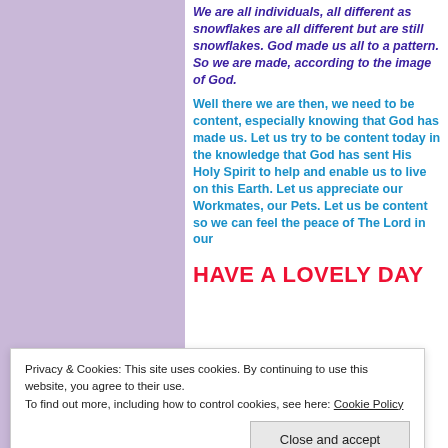We are all individuals, all different as snowflakes are all different but are still snowflakes. God made us all to a pattern. So we are made, according to the image of God.
Well there we are then, we need to be content, especially knowing that God has made us. Let us try to be content today in the knowledge that God has sent His Holy Spirit to help and enable us to live on this Earth. Let us appreciate our Workmates, our Pets. Let us be content so we can feel the peace of The Lord in our lives.
HAVE A LOVELY DAY
Privacy & Cookies: This site uses cookies. By continuing to use this website, you agree to their use. To find out more, including how to control cookies, see here: Cookie Policy
Close and accept